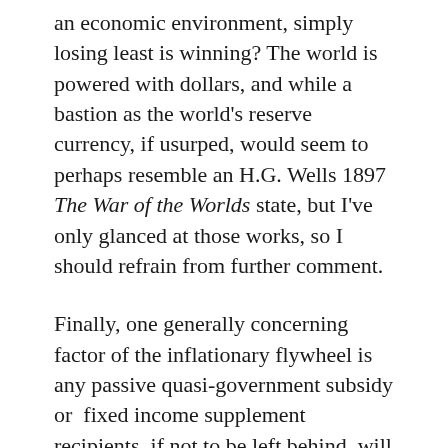an economic environment, simply losing least is winning? The world is powered with dollars, and while a bastion as the world's reserve currency, if usurped, would seem to perhaps resemble an H.G. Wells 1897 The War of the Worlds state, but I've only glanced at those works, so I should refrain from further comment.
Finally, one generally concerning factor of the inflationary flywheel is any passive quasi-government subsidy or  fixed income supplement recipients, if not to be left behind, will also need additional funds. Perhaps this is to be afforded? It will require additional debt or higher taxes, or both. Either option presents